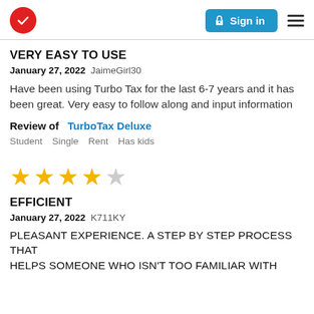[Figure (logo): TurboTax red circle checkmark logo and Sign in button with hamburger menu]
VERY EASY TO USE
January 27, 2022  JaimeGirl30
Have been using Turbo Tax for the last 6-7 years and it has been great. Very easy to follow along and input information
Review of   TurboTax Deluxe
Student   Single   Rent   Has kids
[Figure (other): 4 out of 5 stars rating: 4 filled gold stars and 1 empty gray star]
EFFICIENT
January 27, 2022  K711KY
PLEASANT EXPERIENCE. A STEP BY STEP PROCESS THAT HELPS SOMEONE WHO ISN'T TOO FAMILIAR WITH